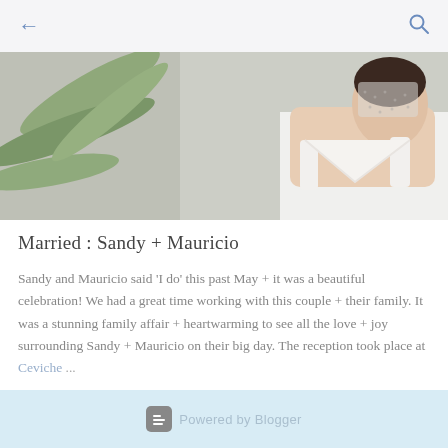← (back) 🔍 (search)
[Figure (photo): A bride wearing a white wedding dress, pearl necklace, and a birdcage veil, with palm fronds visible in the background. The overall color palette is muted grey-beige.]
Married : Sandy + Mauricio
Sandy and Mauricio said 'I do' this past May + it was a beautiful celebration! We had a great time working with this couple + their family. It was a stunning family affair + heartwarming to see all the love + joy surrounding Sandy + Mauricio on their big day. The reception took place at Ceviche ...
Powered by Blogger